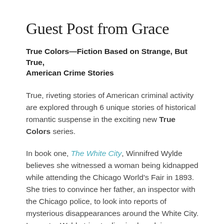Guest Post from Grace
True Colors—Fiction Based on Strange, But True, American Crime Stories
True, riveting stories of American criminal activity are explored through 6 unique stories of historical romantic suspense in the exciting new True Colors series.
In book one, The White City, Winnifred Wylde believes she witnessed a woman being kidnapped while attending the Chicago World's Fair in 1893. She tries to convince her father, an inspector with the Chicago police, to look into reports of mysterious disappearances around the White City. Inspector Wylde tries to dismiss her claims as exaggeration of an overactive imagination, but he eventually concedes to